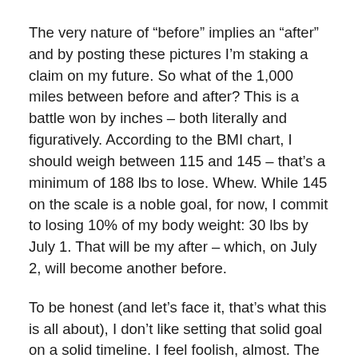The very nature of “before” implies an “after” and by posting these pictures I’m staking a claim on my future. So what of the 1,000 miles between before and after? This is a battle won by inches – both literally and figuratively. According to the BMI chart, I should weigh between 115 and 145 – that’s a minimum of 188 lbs to lose. Whew. While 145 on the scale is a noble goal, for now, I commit to losing 10% of my body weight: 30 lbs by July 1. That will be my after – which, on July 2, will become another before.
To be honest (and let’s face it, that’s what this is all about), I don’t like setting that solid goal on a solid timeline. I feel foolish, almost. The inner critic is shouting loud and clear: only an idiot would declare that kind of goal publicly. What if you don’t make it? You have already embarrassed